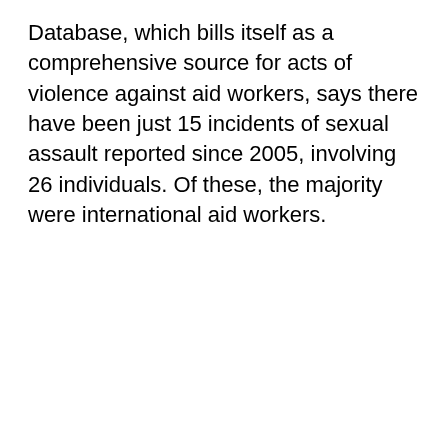Database, which bills itself as a comprehensive source for acts of violence against aid workers, says there have been just 15 incidents of sexual assault reported since 2005, involving 26 individuals. Of these, the majority were international aid workers.